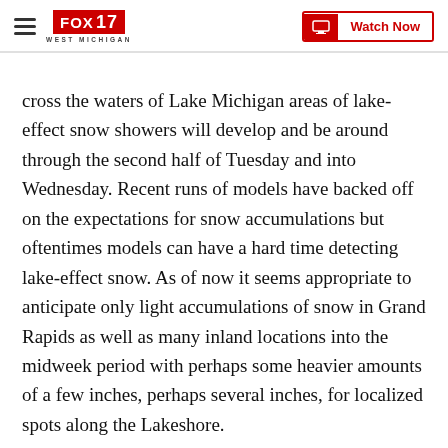FOX 17 WEST MICHIGAN | Watch Now
cross the waters of Lake Michigan areas of lake-effect snow showers will develop and be around through the second half of Tuesday and into Wednesday. Recent runs of models have backed off on the expectations for snow accumulations but oftentimes models can have a hard time detecting lake-effect snow. As of now it seems appropriate to anticipate only light accumulations of snow in Grand Rapids as well as many inland locations into the midweek period with perhaps some heavier amounts of a few inches, perhaps several inches, for localized spots along the Lakeshore.
The change in air masses will likely be the bigger story